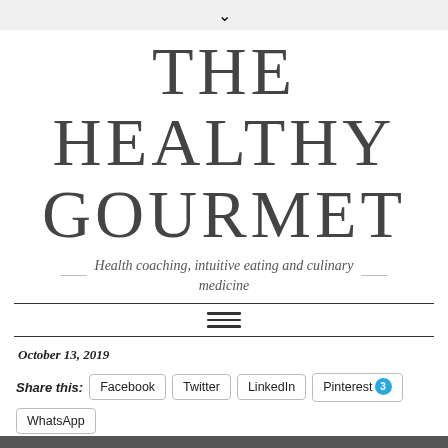THE HEALTHY GOURMET
Health coaching, intuitive eating and culinary medicine
October 13, 2019
Share this: Facebook  Twitter  LinkedIn  Pinterest 3  WhatsApp  Reddit  Telegram  Print